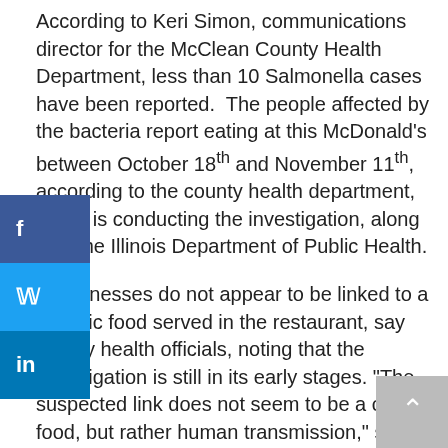According to Keri Simon, communications director for the McClean County Health Department, less than 10 Salmonella cases have been reported. The people affected by the bacteria report eating at this McDonald's between October 18th and November 11th, according to the county health department, which is conducting the investigation, along with the Illinois Department of Public Health.
The illnesses do not appear to be linked to a specific food served in the restaurant, say county health officials, noting that the investigation is still in its early stages. "The suspected link does not seem to be a certain food, but rather human transmission," said the health department in its press release.
The restaurant remained closed as of Monday, but was expected to reopen when it was determined that enough employees were free of infection.